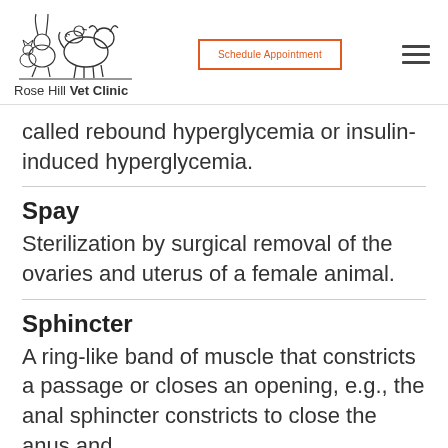Rose Hill Vet Clinic — Schedule Appointment
called rebound hyperglycemia or insulin-induced hyperglycemia.
Spay
Sterilization by surgical removal of the ovaries and uterus of a female animal.
Sphincter
A ring-like band of muscle that constricts a passage or closes an opening, e.g., the anal sphincter constricts to close the anus and